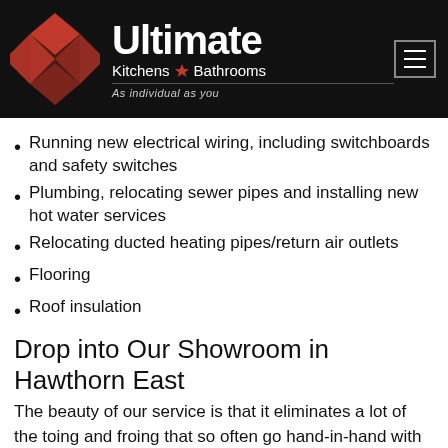[Figure (logo): Ultimate Kitchens & Bathrooms logo with red diamond pattern and text 'As individual as you']
Running new electrical wiring, including switchboards and safety switches
Plumbing, relocating sewer pipes and installing new hot water services
Relocating ducted heating pipes/return air outlets
Flooring
Roof insulation
Drop into Our Showroom in Hawthorn East
The beauty of our service is that it eliminates a lot of the toing and froing that so often go hand-in-hand with major